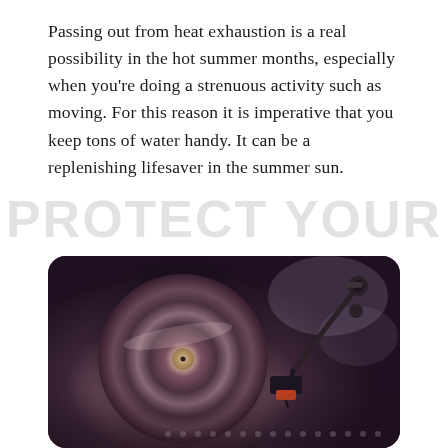Passing out from heat exhaustion is a real possibility in the hot summer months, especially when you're doing a strenuous activity such as moving. For this reason it is imperative that you keep tons of water handy. It can be a replenishing lifesaver in the summer sun.
PROTECT YOUR VALUABLES
[Figure (photo): Close-up photograph of a vinyl record player turntable with tonearm and cartridge visible on the right side. The image has a warm, blurred bokeh aesthetic with purple and mauve tones.]